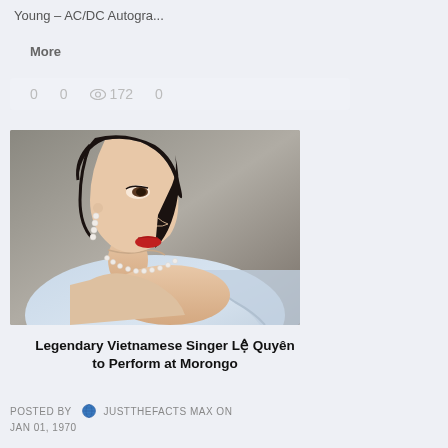Young – AC/DC Autogra...
More
0   0  172   0
[Figure (photo): Portrait photo of a Vietnamese woman with dark hair, red lipstick, pearl earrings, pearl necklace, and a light blue satin dress, photographed from the side/three-quarter angle against a grey background.]
Legendary Vietnamese Singer Lệ Quyên to Perform at Morongo
POSTED BY  JUSTTHEFACTS MAX ON
JAN 01, 1970